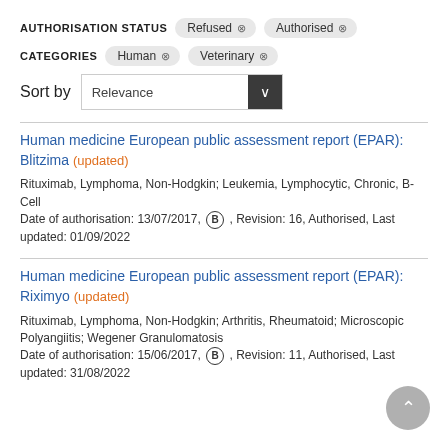AUTHORISATION STATUS   Refused ×   Authorised ×
CATEGORIES   Human ×   Veterinary ×
Sort by   Relevance
Human medicine European public assessment report (EPAR): Blitzima (updated)
Rituximab, Lymphoma, Non-Hodgkin; Leukemia, Lymphocytic, Chronic, B-Cell
Date of authorisation: 13/07/2017, B , Revision: 16, Authorised, Last updated: 01/09/2022
Human medicine European public assessment report (EPAR): Riximyo (updated)
Rituximab, Lymphoma, Non-Hodgkin; Arthritis, Rheumatoid; Microscopic Polyangiitis; Wegener Granulomatosis
Date of authorisation: 15/06/2017, B , Revision: 11, Authorised, Last updated: 31/08/2022